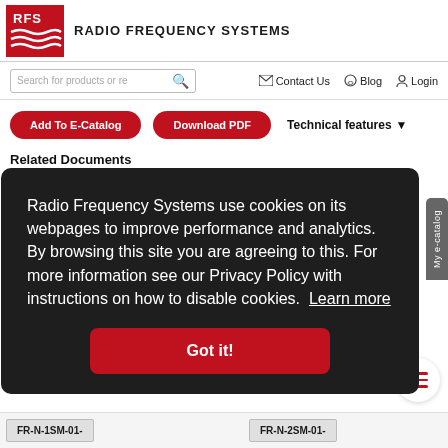[Figure (logo): RFS Radio Frequency Systems logo — red square with white RFS text and red wave lines]
RADIO FREQUENCY SYSTEMS
Search for products or re
Contact Us   Blog   Login
Add To E-Catalog
Download PDF
Technical features
Related Documents
Radio Frequency Systems use cookies on its webpages to improve performance and analytics. By browsing this site you are agreeing to this. For more information see our Privacy Policy with instructions on how to disable cookies. Learn more
Got it!
My e-catalog
FR-N-1SM-01-
FR-N-2SM-01-